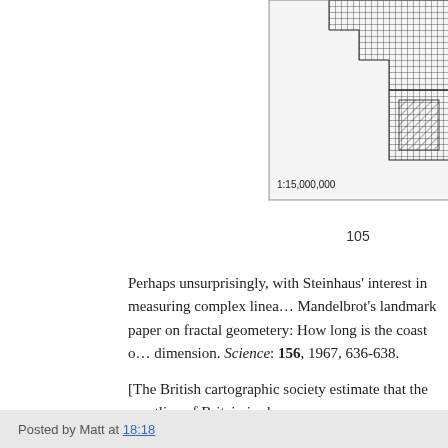[Figure (map): Partial map fragment showing a grid overlay on a coastline map, with scale label '1:15,000,000' visible at the bottom left of the map fragment. The map shows hatched/cross-hatched areas over what appears to be a coastline.]
105
Perhaps unsurprisingly, with Steinhaus' interest in measuring complex linea... Mandelbrot's landmark paper on fractal geometery: How long is the coast o... dimension. Science: 156, 1967, 636-638.
[The British cartographic society estimate that the coastline of Britain is ab...
Posted by Matt at 18:18